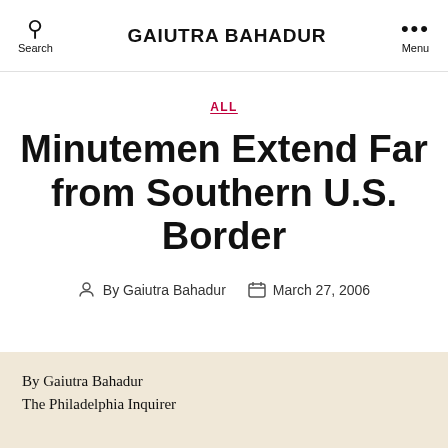GAIUTRA BAHADUR
ALL
Minutemen Extend Far from Southern U.S. Border
By Gaiutra Bahadur   March 27, 2006
By Gaiutra Bahadur
The Philadelphia Inquirer